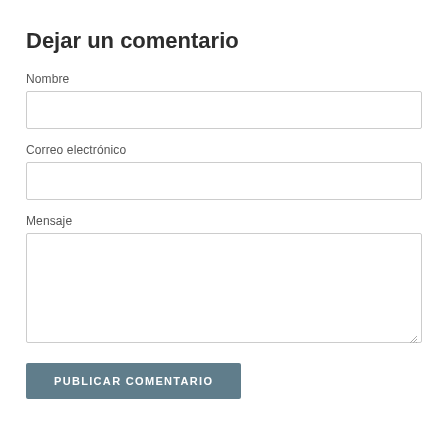Dejar un comentario
Nombre
Correo electrónico
Mensaje
PUBLICAR COMENTARIO